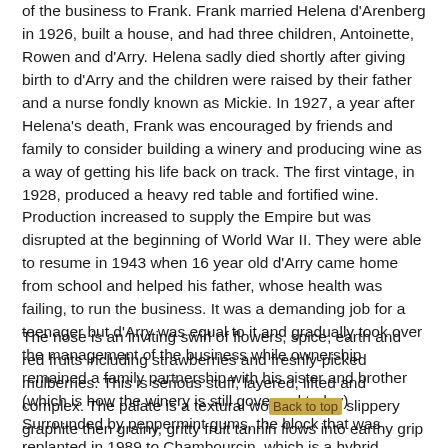of the business to Frank. Frank married Helena d'Arenberg in 1926, built a house, and had three children, Antoinette, Rowen and d'Arry. Helena sadly died shortly after giving birth to d'Arry and the children were raised by their father and a nurse fondly known as Mickie. In 1927, a year after Helena's death, Frank was encouraged by friends and family to consider building a winery and producing wine as a way of getting his life back on track. The first vintage, in 1928, produced a heavy red table and fortified wine. Production increased to supply the Empire but was disrupted at the beginning of World War II. They were able to resume in 1943 when 16 year old d'Arry came home from school and helped his father, whose health was failing, to run the business. It was a demanding job for a teenager but d'Arry was equal to it and gradually took over the management of the business while ownership remained a family partnership with his sister and brother (which is how the winery is still governed today) Surrounded by peppermint gums, the block that was replanted in 1989 to Chambourcin, which is a hybrid variety, has proven itself as a successful variety for red wine production.
The nose is an inviting swirl of flowers, spice, earth and red fruits including strawberries and freshly-picked mulberries. This is serious stuff, layered, lifted and complex. The palate is a textural wo... slippery graphite then grainy, gritty fruit tannin flows into earthy grip b...